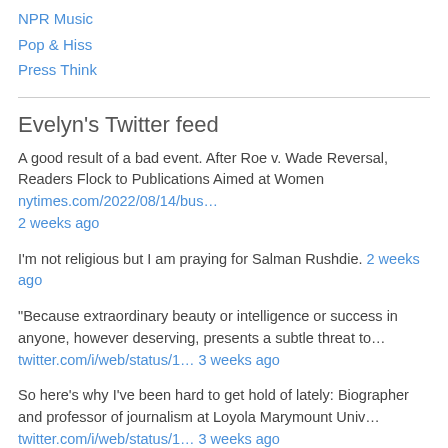NPR Music
Pop & Hiss
Press Think
Evelyn's Twitter feed
A good result of a bad event. After Roe v. Wade Reversal, Readers Flock to Publications Aimed at Women nytimes.com/2022/08/14/bus… 2 weeks ago
I'm not religious but I am praying for Salman Rushdie. 2 weeks ago
"Because extraordinary beauty or intelligence or success in anyone, however deserving, presents a subtle threat to… twitter.com/i/web/status/1… 3 weeks ago
So here's why I've been hard to get hold of lately: Biographer and professor of journalism at Loyola Marymount Univ… twitter.com/i/web/status/1… 3 weeks ago
RT @davidhogg111: twitter.com/davidhogg111/s… 1 month ago